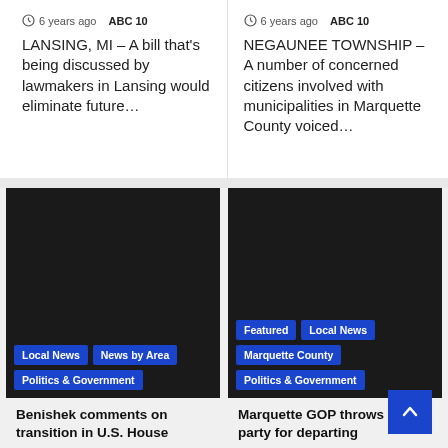6 years ago  ABC 10
LANSING, MI – A bill that's being discussed by lawmakers in Lansing would eliminate future…
6 years ago  ABC 10
NEGAUNEE TOWNSHIP – A number of concerned citizens involved with municipalities in Marquette County voiced…
[Figure (photo): Dark/black image card with tags: Local News, News by Area, Politics & Government]
Benishek comments on transition in U.S. House
[Figure (photo): Dark/black image card with tags: Featured, Local News, Marquette County, Politics & Government]
Marquette GOP throws party for departing